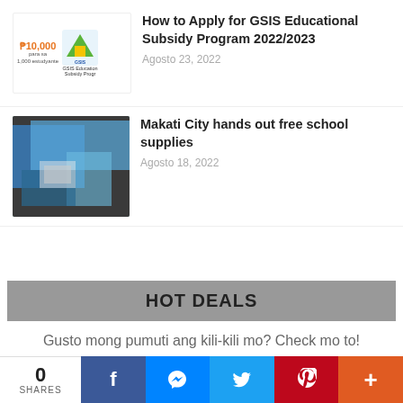[Figure (illustration): GSIS Educational Subsidy Program thumbnail with P10,000 para sa 1,000 estudyante text and GSIS logo]
How to Apply for GSIS Educational Subsidy Program 2022/2023
Agosto 23, 2022
[Figure (photo): Photo of school supplies in blue plastic bags]
Makati City hands out free school supplies
Agosto 18, 2022
HOT DEALS
Gusto mong pumuti ang kili-kili mo? Check mo to!
[Figure (photo): Partial ad image, cropped]
0 SHARES | Facebook | Messenger | Twitter | Pinterest | More